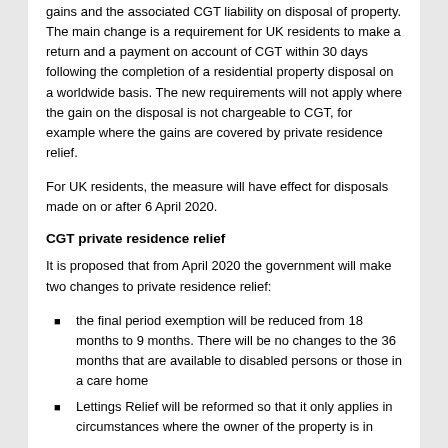gains and the associated CGT liability on disposal of property. The main change is a requirement for UK residents to make a return and a payment on account of CGT within 30 days following the completion of a residential property disposal on a worldwide basis. The new requirements will not apply where the gain on the disposal is not chargeable to CGT, for example where the gains are covered by private residence relief.
For UK residents, the measure will have effect for disposals made on or after 6 April 2020.
CGT private residence relief
It is proposed that from April 2020 the government will make two changes to private residence relief:
the final period exemption will be reduced from 18 months to 9 months. There will be no changes to the 36 months that are available to disabled persons or those in a care home
Lettings Relief will be reformed so that it only applies in circumstances where the owner of the property is in ...